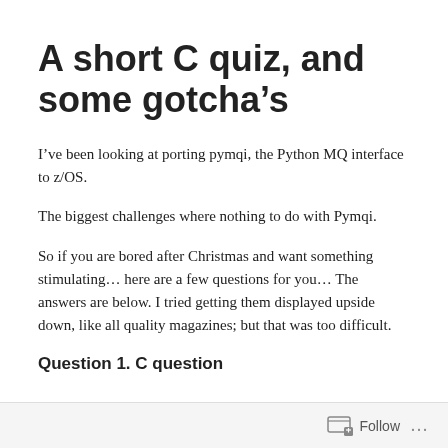A short C quiz, and some gotcha’s
I’ve been looking at porting pymqi, the Python MQ interface to z/OS.
The biggest challenges where nothing to do with Pymqi.
So if you are bored after Christmas and want something stimulating… here are a few questions for you… The answers are below. I tried getting them displayed upside down, like all quality magazines; but that was too difficult.
Question 1. C question
Follow